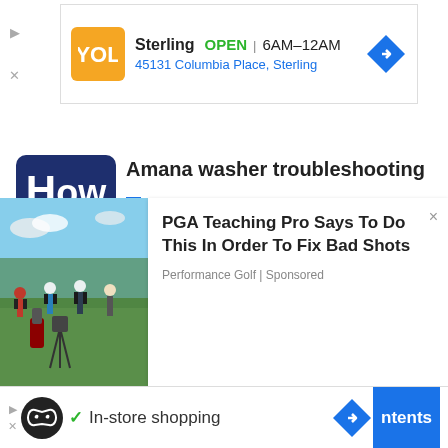[Figure (screenshot): Top advertisement banner for Sterling location: logo icon, OPEN status, hours 6AM-12AM, address 45131 Columbia Place, Sterling, navigation diamond icon]
[Figure (logo): How-To website logo: dark blue rounded rectangle with 'How' text in white]
Amana washer troubleshooting
Query  query
[Figure (photo): Golf instruction scene: PGA teaching pro with students on a golf course]
PGA Teaching Pro Says To Do This In Order To Fix Bad Shots
Performance Golf | Sponsored
[Figure (screenshot): Bottom advertisement bar: masked face icon, checkmark, In-store shopping text, navigation diamond, ntents blue button]